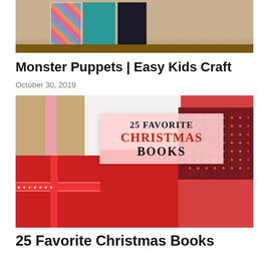[Figure (photo): Photo of colorful books/boxes on a wooden shelf - Monster Puppets article thumbnail]
Monster Puppets | Easy Kids Craft
October 30, 2019
[Figure (photo): Photo of wrapped Christmas gifts with overlay text reading '25 FAVORITE CHRISTMAS BOOKS']
25 Favorite Christmas Books